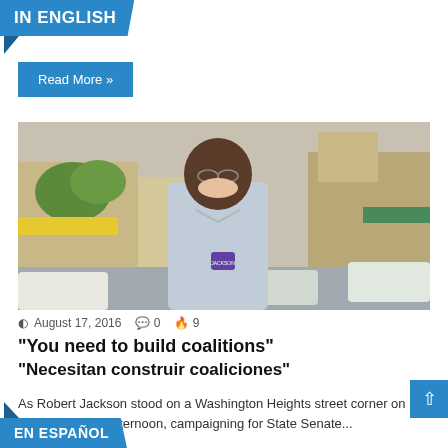IN ENGLISH
Read More »
[Figure (photo): Robert Jackson, a man in a light blue shirt with glasses and a campaign button, smiling on a Washington Heights street corner with cars and storefronts in the background.]
August 17, 2016  0  9
“You need to build coalitions” “Necesitan construir coaliciones”
As Robert Jackson stood on a Washington Heights street corner on a recent Friday afternoon, campaigning for State Senate...
EN ESPAÑOL